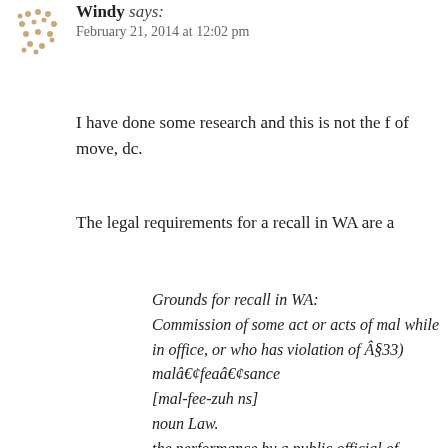[Figure (illustration): Dotted avatar placeholder image for user Windy]
Windy says:
February 21, 2014 at 12:02 pm
I have done some research and this is not the f of move, dc.
The legal requirements for a recall in WA are a
Grounds for recall in WA:
Commission of some act or acts of mal while in office, or who has violation of Â§33)
malâ€¢feaâ€¢sance
[mal-fee-zuh ns]
noun Law.
the performance by a public official of unjustified, harmful, or contrary to law especially of an act in violation of a pu misâ€¢feaâ€¢sance